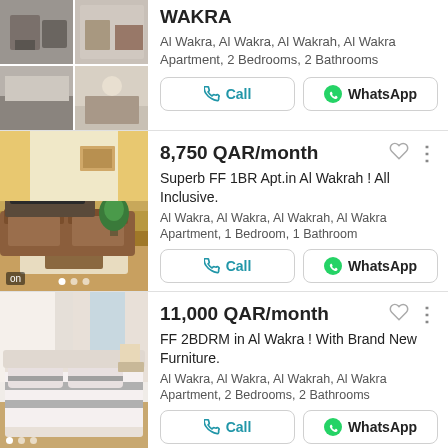[Figure (photo): Top partial listing showing apartment photos in a 2x2 grid]
WAKRA
Al Wakra, Al Wakra, Al Wakrah, Al Wakra
Apartment, 2 Bedrooms, 2 Bathrooms
[Figure (photo): Living room photo with brown sofa, TV, and plant on wooden floor]
8,750 QAR/month
Superb FF 1BR Apt.in Al Wakrah ! All Inclusive.
Al Wakra, Al Wakra, Al Wakrah, Al Wakra
Apartment, 1 Bedroom, 1 Bathroom
[Figure (photo): Bedroom photo with white bedding and gray striped accents]
11,000 QAR/month
FF 2BDRM in Al Wakra ! With Brand New Furniture.
Al Wakra, Al Wakra, Al Wakrah, Al Wakra
Apartment, 2 Bedrooms, 2 Bathrooms